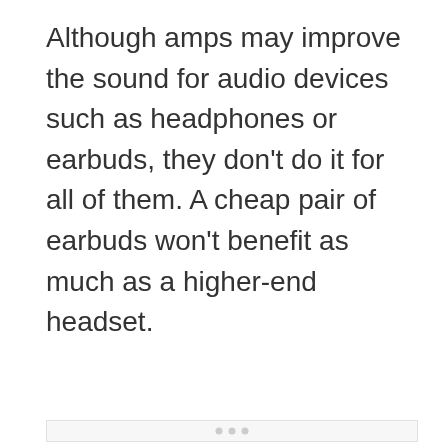Although amps may improve the sound for audio devices such as headphones or earbuds, they don't do it for all of them. A cheap pair of earbuds won't benefit as much as a higher-end headset.
[Figure (other): Light gray placeholder box with three small gray dots centered near the bottom middle, representing an advertisement or media embed placeholder.]